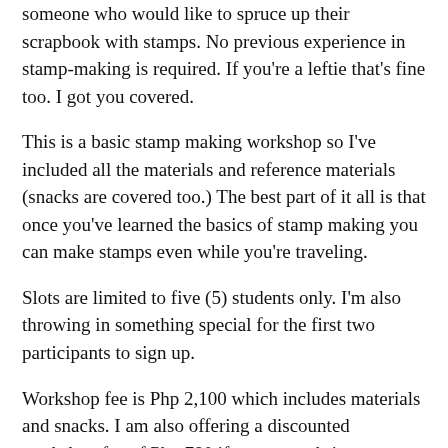someone who would like to spruce up their scrapbook with stamps. No previous experience in stamp-making is required. If you're a leftie that's fine too. I got you covered.
This is a basic stamp making workshop so I've included all the materials and reference materials (snacks are covered too.) The best part of it all is that once you've learned the basics of stamp making you can make stamps even while you're traveling.
Slots are limited to five (5) students only. I'm also throwing in something special for the first two participants to sign up.
Workshop fee is Php 2,100 which includes materials and snacks. I am also offering a discounted workshop fee of Php 780 if you opt to bring your own materials.
Have other questions about the workshop? Leave a comment and I'll get back to you.
Eraser Stamps 101: Travel Themed stamps
January 28, 2016 Saturday
The Wander Space